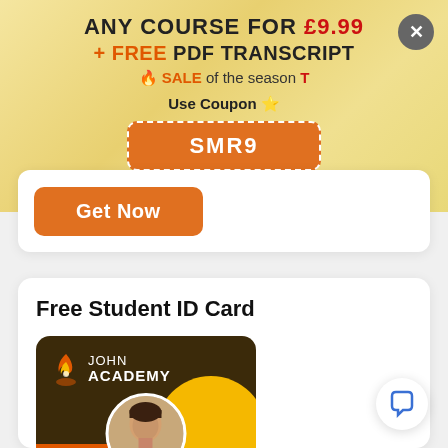ANY COURSE FOR £9.99
+ FREE PDF TRANSCRIPT
🔥 SALE of the season T
Use Coupon
SMR9
Get Now
Free Student ID Card
[Figure (illustration): John Academy student ID card with dark brown background, yellow circular accent, orange bar, logo with flame icon, and circular avatar photo of a man]